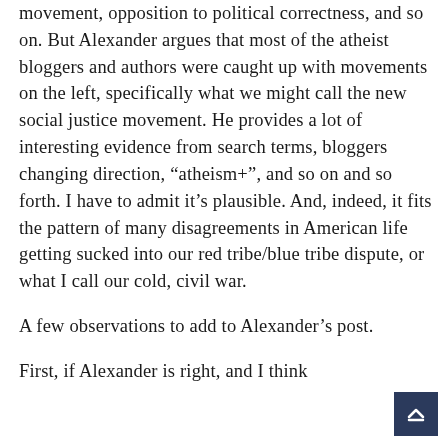movement, opposition to political correctness, and so on. But Alexander argues that most of the atheist bloggers and authors were caught up with movements on the left, specifically what we might call the new social justice movement. He provides a lot of interesting evidence from search terms, bloggers changing direction, “atheism+”, and so on and so forth. I have to admit it’s plausible. And, indeed, it fits the pattern of many disagreements in American life getting sucked into our red tribe/blue tribe dispute, or what I call our cold, civil war.
A few observations to add to Alexander’s post.
First, if Alexander is right, and I think